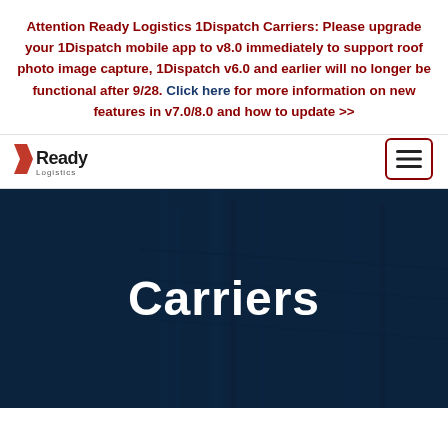Attention Ready Logistics 1Dispatch Carriers: Please upgrade your 1Dispatch mobile app to v8.0 immediately to support roof photo image capture, 1Dispatch v6.0 and earlier will no longer be functional after 9/28. Click here for more information on new features in v7.0/8.0 and how to update >>
[Figure (logo): Ready Logistics logo with red chevron stripes and company name]
[Figure (other): Hamburger menu button with three horizontal lines, bordered in dark red]
Carriers